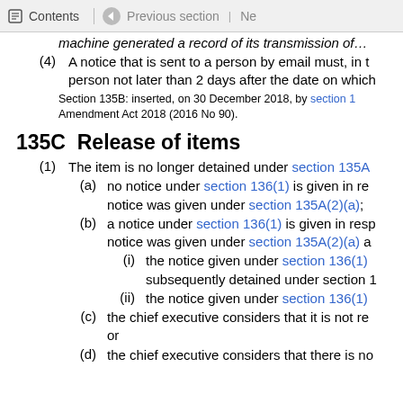Contents | Previous section | Ne
machine generated a record of its transmission of…
(4) A notice that is sent to a person by email must, in t… person not later than 2 days after the date on which…
Section 135B: inserted, on 30 December 2018, by section 1… Amendment Act 2018 (2016 No 90).
135C  Release of items
(1) The item is no longer detained under section 135A…
(a) no notice under section 136(1) is given in re… notice was given under section 135A(2)(a);…
(b) a notice under section 136(1) is given in resp… notice was given under section 135A(2)(a) a…
(i) the notice given under section 136(1)… subsequently detained under section 1…
(ii) the notice given under section 136(1)…
(c) the chief executive considers that it is not re… or
(d) the chief executive considers that there is no…